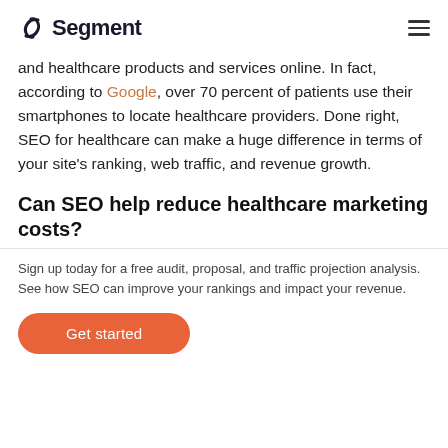Segment
and healthcare products and services online. In fact, according to Google, over 70 percent of patients use their smartphones to locate healthcare providers. Done right, SEO for healthcare can make a huge difference in terms of your site's ranking, web traffic, and revenue growth.
Can SEO help reduce healthcare marketing costs?
Sign up today for a free audit, proposal, and traffic projection analysis. See how SEO can improve your rankings and impact your revenue.
Get started